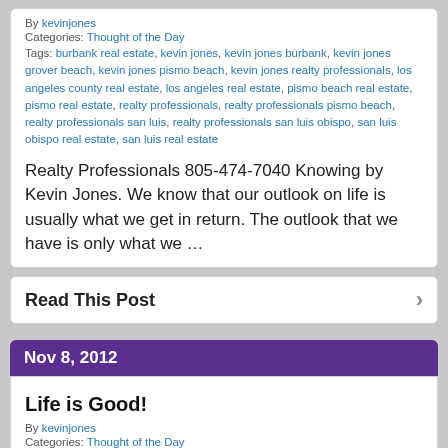By kevinjones
Categories: Thought of the Day
Tags: burbank real estate, kevin jones, kevin jones burbank, kevin jones grover beach, kevin jones pismo beach, kevin jones realty professionals, los angeles county real estate, los angeles real estate, pismo beach real estate, pismo real estate, realty professionals, realty professionals pismo beach, realty professionals san luis, realty professionals san luis obispo, san luis obispo real estate, san luis real estate
Realty Professionals  805-474-7040  Knowing by Kevin Jones.  We know that our outlook on life is usually what we get in return.  The outlook that we have is only what we …
Read This Post
Nov 8, 2012
Life is Good!
By kevinjones
Categories: Thought of the Day
Tags: burbank real estate, kevin jones burbank real estate, kevin jones pismo beach real estate, los angeles county real estate, pismo beach agent, pismo beach broker, pismo beach real estate, pismo beach real estate company, realty professionals, san luis obispo real estate, thought of the day
Realty Professionals  805-474-7040  Life is Good!  by Kevin Jones.  Life is only as good as we make it, it is only as good as we allow it to be, Life …